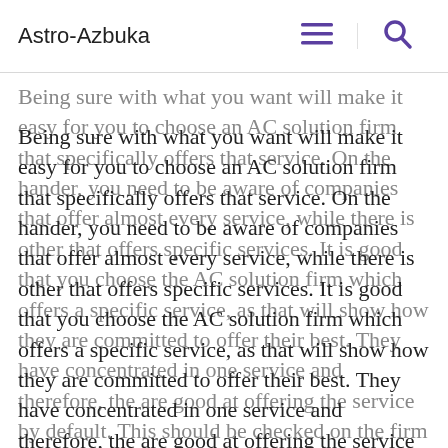Astro-Azbuka
If you note any firm that has any of them, you can easily avoid them. Being sure with what you want will make it easy for you to choose an AC solution firm that specifically offers that service. On the hander, you need to be aware of companies that offer almost every service, while there is other that offers specific services. It is good that you choose the AC solution firm which offers a specific service, as that will show how they are committed to offer their best. They have concentrated in one service and therefore, the are good at offering the service by default. This should be checked on the firm website before you can go ahead to settle for it.
Ensure that you are settling for an AC solution firm that is transparent on most of its aspects. Some of the aspects that a firm needs to be